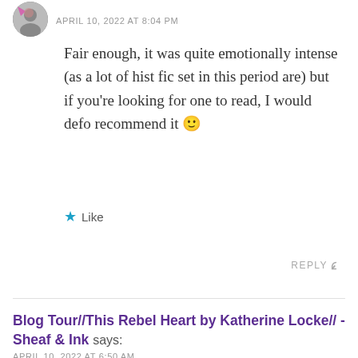APRIL 10, 2022 AT 8:04 PM
Fair enough, it was quite emotionally intense (as a lot of hist fic set in this period are) but if you're looking for one to read, I would defo recommend it 🙂
★ Like
REPLY ↩
Blog Tour//This Rebel Heart by Katherine Locke// - Sheaf & Ink says:
APRIL 10, 2022 AT 6:50 AM
[…] 4thNine Bookish Lives – Promotional Postdinipandareads – Review & Favorite QuotesInking & Thinking – Top 5 Reasons to Read This Rebel Heart...